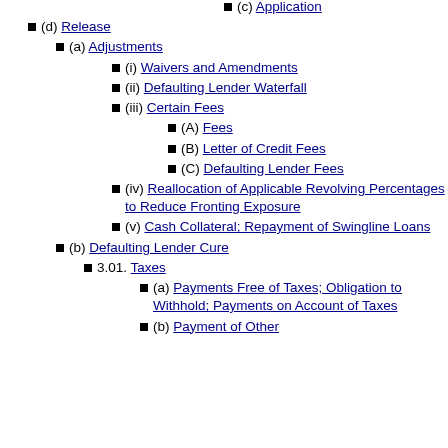(c) Application
(d) Release
(a) Adjustments
(i) Waivers and Amendments
(ii) Defaulting Lender Waterfall
(iii) Certain Fees
(A) Fees
(B) Letter of Credit Fees
(C) Defaulting Lender Fees
(iv) Reallocation of Applicable Revolving Percentages to Reduce Fronting Exposure
(v) Cash Collateral; Repayment of Swingline Loans
(b) Defaulting Lender Cure
3.01. Taxes
(a) Payments Free of Taxes; Obligation to Withhold; Payments on Account of Taxes
(b) Payment of Other